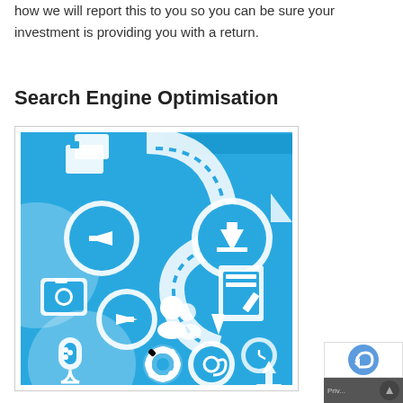how we will report this to you so you can be sure your investment is providing you with a return.
Search Engine Optimisation
[Figure (illustration): Blue background SEO/digital marketing icon illustration featuring white icons: arrows in circles, camera, people/users icon, gear/settings, @ symbol, microphone, upload arrow, document with pencil, clock, and curving path/road connecting icons.]